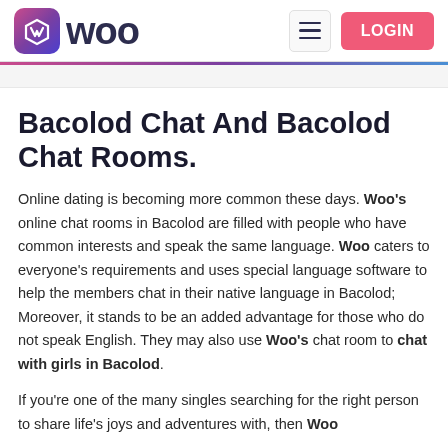Woo | LOGIN
Bacolod Chat And Bacolod Chat Rooms.
Online dating is becoming more common these days. Woo's online chat rooms in Bacolod are filled with people who have common interests and speak the same language. Woo caters to everyone's requirements and uses special language software to help the members chat in their native language in Bacolod; Moreover, it stands to be an added advantage for those who do not speak English. They may also use Woo's chat room to chat with girls in Bacolod.
If you're one of the many singles searching for the right person to share life's joys and adventures with, then Woo